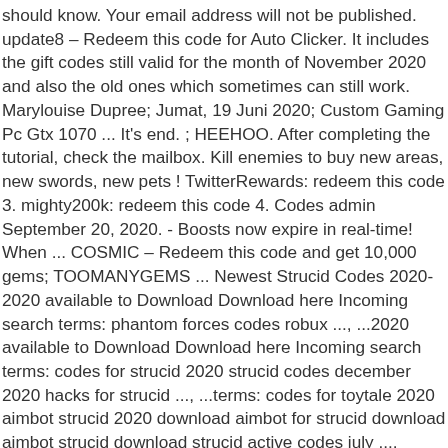should know. Your email address will not be published. update8 – Redeem this code for Auto Clicker. It includes the gift codes still valid for the month of November 2020 and also the old ones which sometimes can still work. Marylouise Dupree; Jumat, 19 Juni 2020; Custom Gaming Pc Gtx 1070 ... It's end. ; HEEHOO. After completing the tutorial, check the mailbox. Kill enemies to buy new areas, new swords, new pets ! TwitterRewards: redeem this code 3. mighty200k: redeem this code 4. Codes admin September 20, 2020. - Boosts now expire in real-time! When ... COSMIC – Redeem this code and get 10,000 gems; TOOMANYGEMS ... Newest Strucid Codes 2020-2020 available to Download Download here Incoming search terms: phantom forces codes robux ..., ...2020 available to Download Download here Incoming search terms: codes for strucid 2020 strucid codes december 2020 hacks for strucid ..., ...terms: codes for toytale 2020 aimbot strucid 2020 download aimbot for strucid download aimbot strucid download strucid active codes july ..., Unboxing Simulator Pet Codes January 2021. When other players try to make money during the game, these codes make it easy for you and you can reach what you need earlier with leaving others your behind. 300likes2020: Redeem the code to receive 1 000 strength as reward. reaper. The mailbox is on the top-right side of